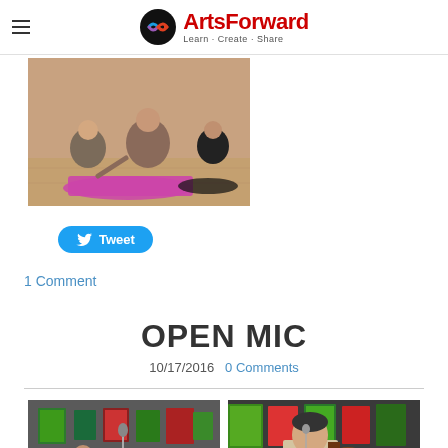ArtsForward — Learn · Create · Share
[Figure (photo): People doing yoga/stretching on mats in a studio, sitting on the floor]
[Figure (other): Twitter Tweet button]
1 Comment
OPEN MIC
10/17/2016   0 Comments
[Figure (photo): Open mic event in gallery with audience and person at microphone, colorful paintings on walls]
[Figure (photo): Man playing guitar or bass at open mic event with colorful paintings on wall behind him]